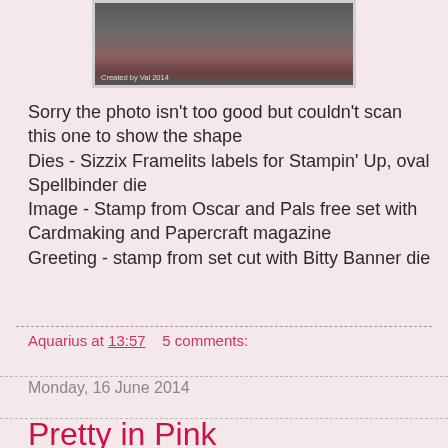[Figure (photo): Partial photo of a handmade card with pink/dark tones, with text 'Created by Val 2014' at the bottom left]
Sorry the photo isn't too good but couldn't scan this one to show the shape
Dies - Sizzix Framelits labels for Stampin' Up, oval Spellbinder die
Image - Stamp from Oscar and Pals free set with Cardmaking and Papercraft magazine
Greeting - stamp from set cut with Bitty Banner die
Aquarius at 13:57    5 comments:
Monday, 16 June 2014
Pretty in Pink